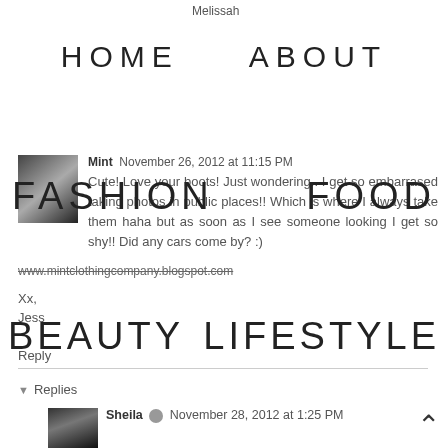Melissah
HOME    ABOUT
FASHION    FOOD
BEAUTY    LIFESTYLE
CONTACT
Mint  November 26, 2012 at 11:15 PM
Cute! Love your boots! Just wondering.. I get so embarrased taking photos in public places!! Which is where I always take them haha but as soon as I see someone looking I get so shy!! Did any cars come by? :)
www.mintclothingcompany.blogspot.com
Xx,
Jess
Reply
▼  Replies
Sheila  November 28, 2012 at 1:25 PM